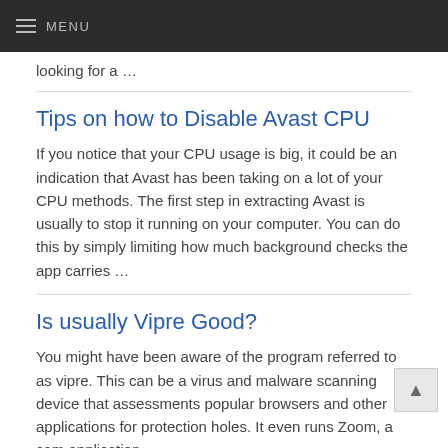MENU
looking for a …
Tips on how to Disable Avast CPU
If you notice that your CPU usage is big, it could be an indication that Avast has been taking on a lot of your CPU methods. The first step in extracting Avast is usually to stop it running on your computer. You can do this by simply limiting how much background checks the app carries …
Is usually Vipre Good?
You might have been aware of the program referred to as vipre. This can be a virus and malware scanning device that assessments popular browsers and other applications for protection holes. It even runs Zoom, a cam application …